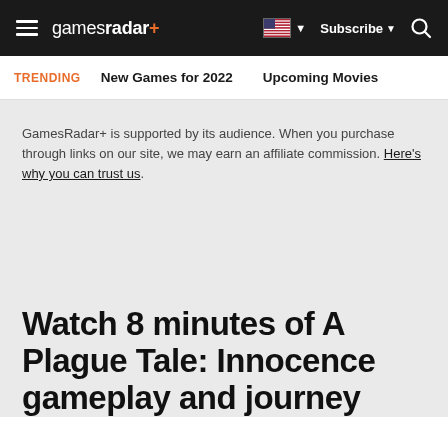gamesradar+ | Subscribe | Search
TRENDING  New Games for 2022  Upcoming Movies
GamesRadar+ is supported by its audience. When you purchase through links on our site, we may earn an affiliate commission. Here's why you can trust us.
Watch 8 minutes of A Plague Tale: Innocence gameplay and journey